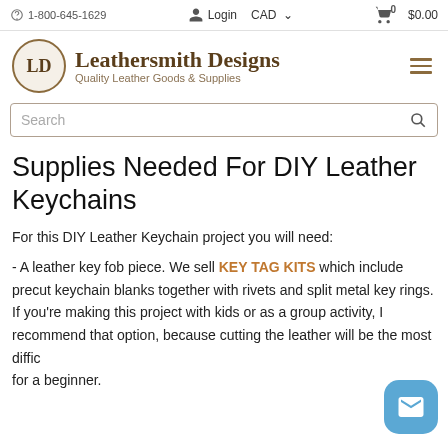1-800-645-1629   Login   CAD   $0.00
[Figure (logo): Leathersmith Designs circular logo with LD initials]
Leathersmith Designs — Quality Leather Goods & Supplies
Search
Supplies Needed For DIY Leather Keychains
For this DIY Leather Keychain project you will need:
- A leather key fob piece. We sell KEY TAG KITS which include precut keychain blanks together with rivets and split metal key rings. If you're making this project with kids or as a group activity, I recommend that option, because cutting the leather will be the most diffic for a beginner.